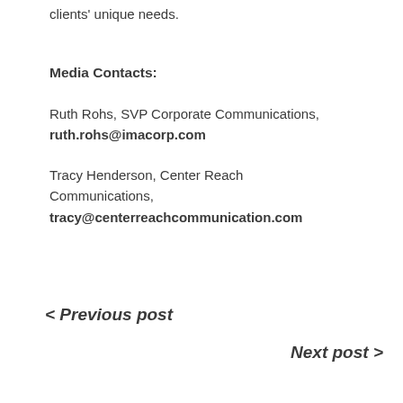clients' unique needs.
Media Contacts:
Ruth Rohs, SVP Corporate Communications, ruth.rohs@imacorp.com
Tracy Henderson, Center Reach Communications, tracy@centerreachcommunication.com
< Previous post
Next post >